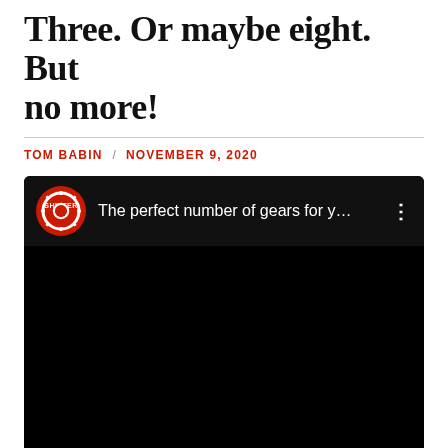Three. Or maybe eight. But no more!
TOM BABIN / NOVEMBER 9, 2020
[Figure (screenshot): Embedded YouTube video thumbnail for 'The perfect number of gears for y...' from the Shifter channel. Video shows a black screen with the Shifter logo (red circle with gear icon and SHIFTER text) and video title in the top bar, with three-dot menu icon.]